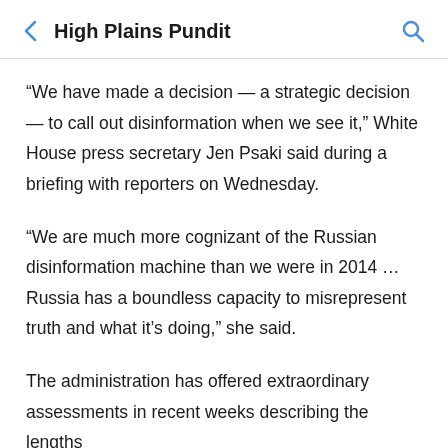High Plains Pundit
“We have made a decision — a strategic decision — to call out disinformation when we see it,” White House press secretary Jen Psaki said during a briefing with reporters on Wednesday.
“We are much more cognizant of the Russian disinformation machine than we were in 2014 … Russia has a boundless capacity to misrepresent truth and what it’s doing,” she said.
The administration has offered extraordinary assessments in recent weeks describing the lengths